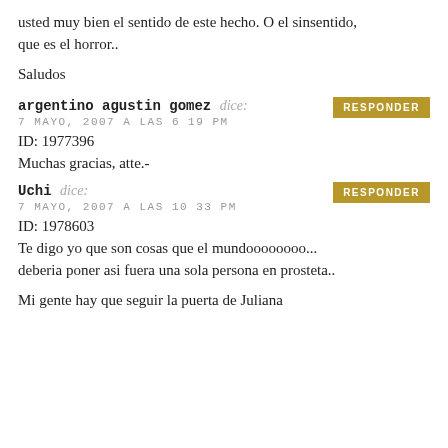usted muy bien el sentido de este hecho. O el sinsentido, que es el horror..
Saludos
argentino agustin gomez dice:
7 MAYO, 2007 A LAS 6 19 PM
ID: 1977396
Muchas gracias, atte.-
Uchi dice:
7 MAYO, 2007 A LAS 10 33 PM
ID: 1978603
Te digo yo que son cosas que el mundoooooooo... deberia poner asi fuera una sola persona en prosteta..
Mi gente hay que seguir la puerta de Juliana